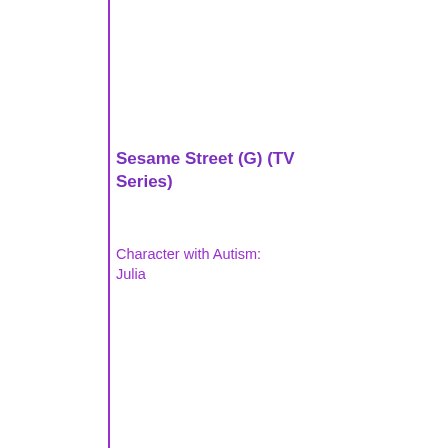Sesame Street (G) (TV Series)
Character with Autism: Julia
inhabitants,
human and
muppet, teach
preschool
subjects with
comedy, cartoons,
games, and
songs.
Stream: PBS
Youtube TV
Purchase: G
Itunes, Youtu…
Episodes wi…
https://youtu…
Written by Radiyah Sobhan, BA
Edited by Danielle Bentz, MA